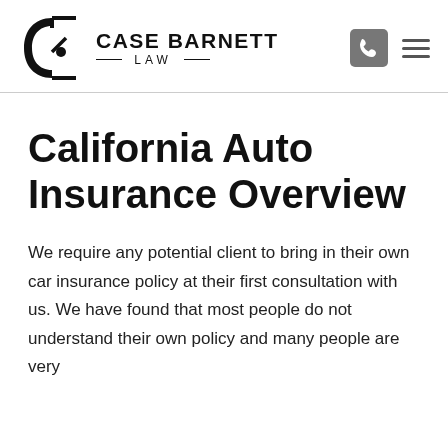CASE BARNETT LAW
California Auto Insurance Overview
We require any potential client to bring in their own car insurance policy at their first consultation with us. We have found that most people do not understand their own policy and many people are very